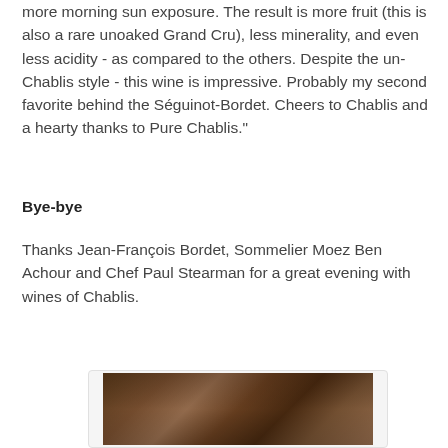more morning sun exposure. The result is more fruit (this is also a rare unoaked Grand Cru), less minerality, and even less acidity - as compared to the others. Despite the un-Chablis style - this wine is impressive. Probably my second favorite behind the Séguinot-Bordet. Cheers to Chablis and a hearty thanks to Pure Chablis."
Bye-bye
Thanks Jean-François Bordet, Sommelier Moez Ben Achour and Chef Paul Stearman for a great evening with wines of Chablis.
[Figure (photo): Group photo of four people at an evening wine event, holding glasses of wine, warm indoor lighting]